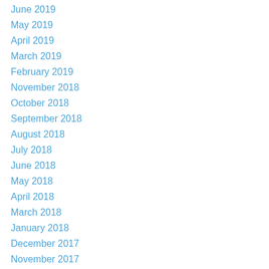June 2019
May 2019
April 2019
March 2019
February 2019
November 2018
October 2018
September 2018
August 2018
July 2018
June 2018
May 2018
April 2018
March 2018
January 2018
December 2017
November 2017
October 2017
September 2017
August 2017